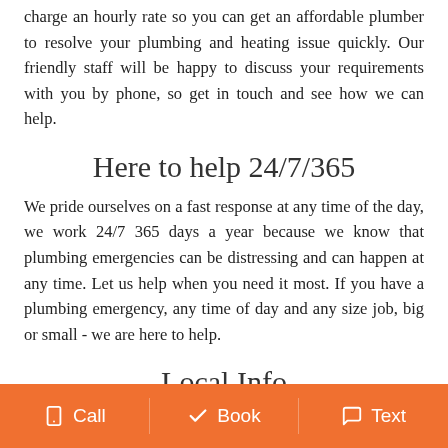charge an hourly rate so you can get an affordable plumber to resolve your plumbing and heating issue quickly. Our friendly staff will be happy to discuss your requirements with you by phone, so get in touch and see how we can help.
Here to help 24/7/365
We pride ourselves on a fast response at any time of the day, we work 24/7 365 days a year because we know that plumbing emergencies can be distressing and can happen at any time. Let us help when you need it most. If you have a plumbing emergency, any time of day and any size job, big or small - we are here to help.
Local Info
Wikipedia Northwick Park is an area in northwest London, which forms part in the London Borough of Brent. The area is
Call   Book   Text